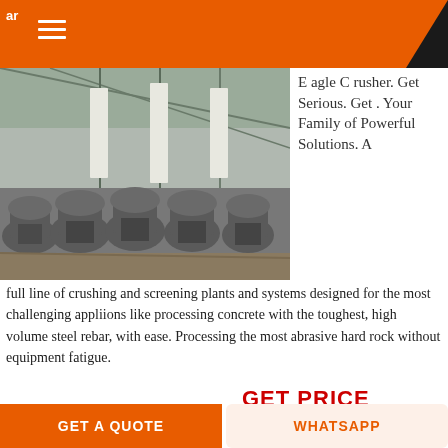ar
[Figure (photo): Industrial facility interior showing a row of large grey cone crusher machines on a factory floor with steel roof structure and banners visible in background]
Eagle Crusher. Get Serious. Get . Your Family of Powerful Solutions. A full line of crushing and screening plants and systems designed for the most challenging appliions like processing concrete with the toughest, high volume steel rebar, with ease. Processing the most abrasive hard rock without equipment fatigue.
GET PRICE
[Figure (photo): Partial view of another industrial machine or equipment at bottom of page]
GET A QUOTE
WHATSAPP